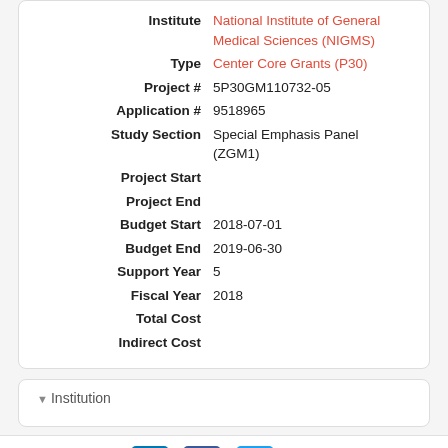| Field | Value |
| --- | --- |
| Institute | National Institute of General Medical Sciences (NIGMS) |
| Type | Center Core Grants (P30) |
| Project # | 5P30GM110732-05 |
| Application # | 9518965 |
| Study Section | Special Emphasis Panel (ZGM1) |
| Project Start |  |
| Project End |  |
| Budget Start | 2018-07-01 |
| Budget End | 2019-06-30 |
| Support Year | 5 |
| Fiscal Year | 2018 |
| Total Cost |  |
| Indirect Cost |  |
Institution
Share this grant: